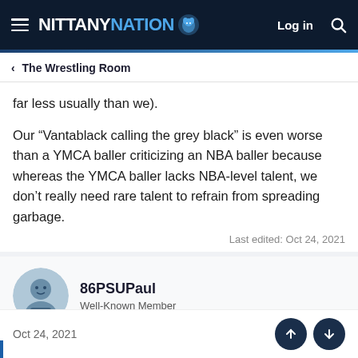NITTANY NATION — Log in
< The Wrestling Room
far less usually than we).
Our “Vantablack calling the grey black” is even worse than a YMCA baller criticizing an NBA baller because whereas the YMCA baller lacks NBA-level talent, we don’t really need rare talent to refrain from spreading garbage.
Last edited: Oct 24, 2021
86PSUPaul
Well-Known Member
Oct 24, 2021